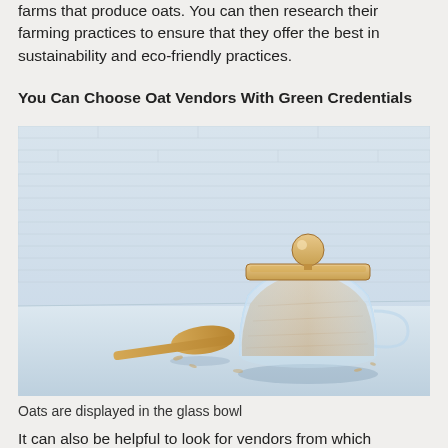farms that produce oats. You can then research their farming practices to ensure that they offer the best in sustainability and eco-friendly practices.
You Can Choose Oat Vendors With Green Credentials
[Figure (photo): A glass jar filled with rolled oats with a wooden lid topped by a round ball knob, sitting on a light blue surface with a wooden spoon in front, against a light blue brick wall background.]
Oats are displayed in the glass bowl
It can also be helpful to look for vendors from which